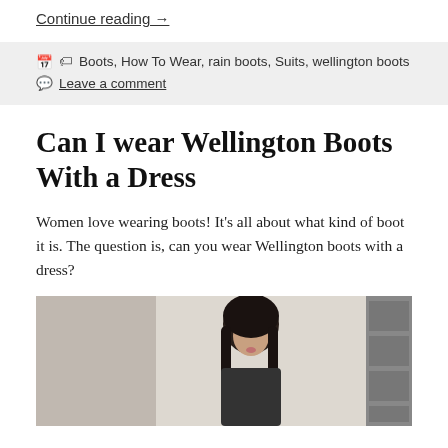Continue reading →
📅 🏷 Boots, How To Wear, rain boots, Suits, wellington boots
💬 Leave a comment
Can I wear Wellington Boots With a Dress
Women love wearing boots! It's all about what kind of boot it is. The question is, can you wear Wellington boots with a dress?
[Figure (photo): Woman with long dark hair wearing dark outfit, street style photo]